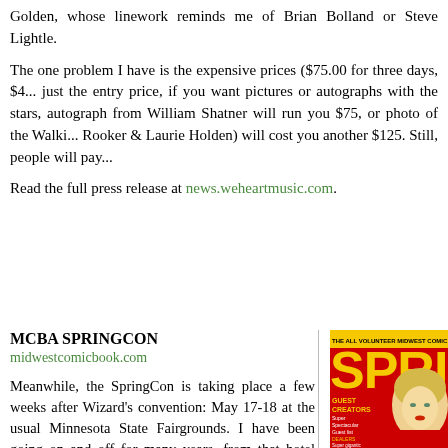Golden, whose linework reminds me of Brian Bolland or Steve Lightle.
The one problem I have is the expensive prices ($75.00 for three days, $4... just the entry price, if you want pictures or autographs with the stars, autograph from William Shatner will run you $75, or photo of the Walki... Rooker & Laurie Holden) will cost you another $125. Still, people will pay...
Read the full press release at news.weheartmusic.com.
MCBA SPRINGCON
midwestcomicbook.com
Meanwhile, the SpringCon is taking place a few weeks after Wizard's convention: May 17-18 at the usual Minnesota State Fairgrounds. I have been going on and off for many years, from that hotel near Mall of America to the much larger Minnesota State Fairgrounds.
[Figure (photo): Comic book convention promotional poster for MCBA SpringCon. Red and yellow design with text 'THE ALL VOLUNTEER MIDWEST COMIC B... SPRI' and a comic book style illustration of a woman with blonde hair. Lists GUEST CREATORS with text about Super Spectacular Guest list exploding to include over 250 Guest Comic Book Creators! DEALERS - Super gigantic comic book Marketplace!]